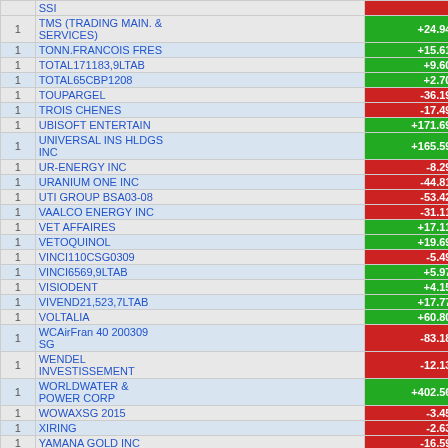|  | Name | Val | %1 | %2 |
| --- | --- | --- | --- | --- |
| 1 | TMS (TRADING MAIN. & SERVICES) | +24.94 | -2.46 | -10.81 |
| 1 | TONN.FRANCOIS FRES | +15.61 | -2.43 | -10.80 |
| 1 | TOTAL171183,9LTAB | +9.60 | -2.41 | -10.79 |
| 1 | TOTAL65CBP1208 | +2.70 | -2.40 | -10.79 |
| 1 | TOUPARGEL | -36.19 | -2.46 | -10.80 |
| 1 | TROIS CHENES | -17.49 | -2.49 | -10.80 |
| 1 | UBISOFT ENTERTAIN | +171.69 | -2.18 | -10.72 |
| 1 | UNIVERSAL INS HLDGS INC | +165.59 | -1.89 | -10.65 |
| 1 | UR-ENERGY INC | -8.29 | -1.90 | -10.64 |
| 1 | URANIUM ONE INC | -44.81 | -1.97 | -10.66 |
| 1 | UTI GROUP BSA03-08 | -53.42 | -2.06 | -10.68 |
| 1 | VAALCO ENERGY INC | -31.11 | -2.11 | -10.69 |
| 1 | VET AFFAIRES | +17.11 | -2.08 | -10.67 |
| 1 | VETOQUINOL | +19.69 | -2.04 | -10.66 |
| 1 | VINCI110CSG0309 | -5.49 | -2.05 | -10.66 |
| 1 | VINCI6569,9LTAB | +5.97 | -2.04 | -10.65 |
| 1 | VISIODENT | +4.15 | -2.02 | -10.65 |
| 1 | VIVEND21,523,7LTAB | +17.77 | -1.99 | -10.63 |
| 1 | VOLTALIA | +60.80 | -1.88 | -10.60 |
| 1 | WCAirFran 40 200309 SG | -83.18 | -2.02 | -10.63 |
| 1 | WENDEL INVESTISSEMENT | -12.13 | -2.04 | -10.64 |
| 1 | WORLDWATER & POWER CORP | +402.56 | -1.35 | -10.46 |
| 1 | WOWAXSG 2015 | -3.45 | -1.35 | -10.46 |
| 1 | XIRING | -2.63 | -1.36 | -10.45 |
| 1 | YAMANA GOLD INC | -16.59 | -1.38 | -10.45 |
| 1 | ZUBLIN IMMOBILIERE FRANCE | -10.69 | -1.40 | -10.45 |
| 1 | CO2 SG 0108 | -99.70 | -1.56 | -10.49 |